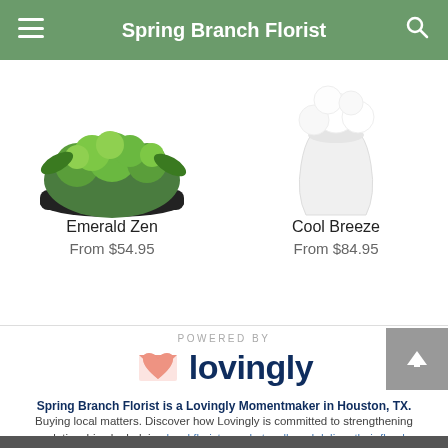Spring Branch Florist
[Figure (photo): Emerald Zen floral arrangement in a black bowl with green flowers and foliage]
Emerald Zen
From $54.95
[Figure (photo): Cool Breeze floral arrangement in a white vase]
Cool Breeze
From $84.95
[Figure (logo): Lovingly logo with pink heart/envelope icon and dark blue 'lovingly' wordmark, with 'POWERED BY' text above]
Spring Branch Florist is a Lovingly Momentmaker in Houston, TX.
Buying local matters. Discover how Lovingly is committed to strengthening relationships by helping local florists market, sell, and deliver their floral designs online.